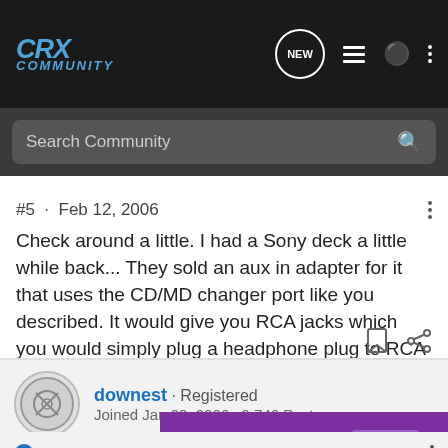CRX Community
Search Community
#5 · Feb 12, 2006
Check around a little. I had a Sony deck a little while back... They sold an aux in adapter for it that uses the CD/MD changer port like you described. It would give you RCA jacks which you would simply plug a headphone plug to RCA adapter into. My current JVC deck is set up like that.
downest · Registered
Joined Jan 23, 2006 · 9,746 Posts
[Figure (screenshot): Advertisement banner: Secure cloud backup. Mobile accessible. Carbonite Backup + Restore.]
Discu